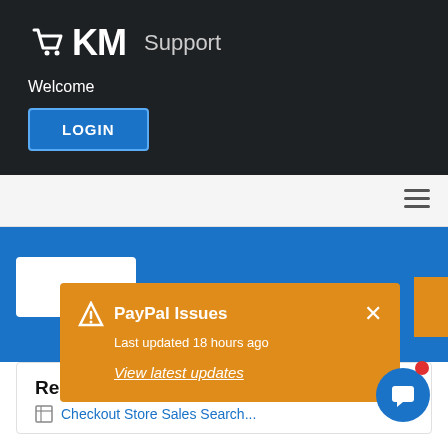eKM Support
Welcome
LOGIN
[Figure (screenshot): Blue content section with search bar area]
PayPal Issues
Last updated 18 hours ago
View latest updates
Related Articles
Checkout Store Sales Search...